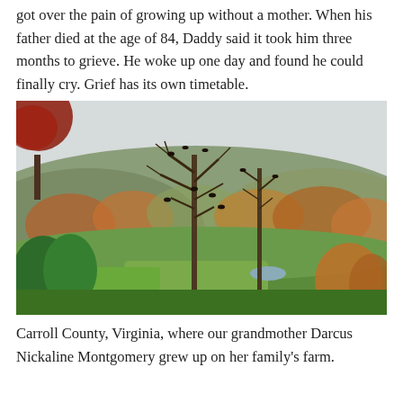got over the pain of growing up without a mother. When his father died at the age of 84, Daddy said it took him three months to grieve. He woke up one day and found he could finally cry. Grief has its own timetable.
[Figure (photo): Autumn landscape in Carroll County, Virginia, showing rolling hills covered with fall foliage in red, orange, and gold, with bare trees in the foreground bearing dark birds, green fields, and an overcast sky.]
Carroll County, Virginia, where our grandmother Darcus Nickaline Montgomery grew up on her family's farm.